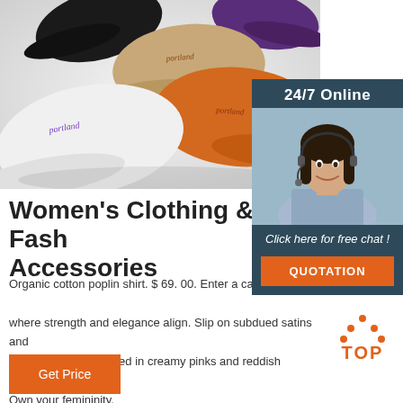[Figure (photo): Multiple baseball caps in various colors (white, beige/tan, orange, black, purple) laid flat on a white background, with 'portland' script embroidered on the fronts.]
[Figure (infographic): 24/7 Online customer service widget showing a female agent with headset, 'Click here for free chat!' text, and an orange QUOTATION button.]
Women's Clothing & Fashion Accessories
Organic cotton poplin shirt. $ 69. 00. Enter a captivating world where strength and elegance align. Slip on subdued satins and relaxed velvets covered in creamy pinks and reddish browns. Own your femininity.
[Figure (infographic): Orange dotted arrow pointing up with 'TOP' text in orange below it.]
Get Price